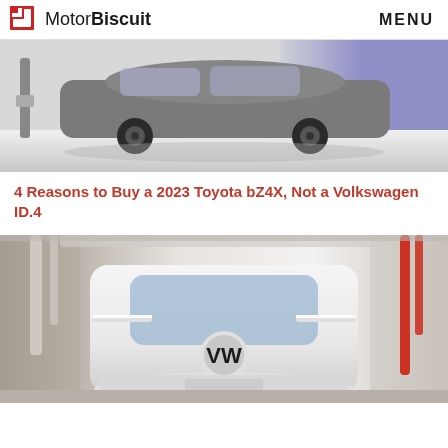MotorBiscuit | MENU
[Figure (photo): Silver Toyota bZ4X electric SUV displayed in a showroom with a purple/blue backlit background and white floor, side profile view, EV charging equipment visible on the left]
4 Reasons to Buy a 2023 Toyota bZ4X, Not a Volkswagen ID.4
[Figure (photo): White Volkswagen ID.4 on an assembly/production line in a factory, front-facing view, showing the distinctive VW badge and slim LED headlights, industrial factory infrastructure with pipes and red electrical equipment visible in the background]